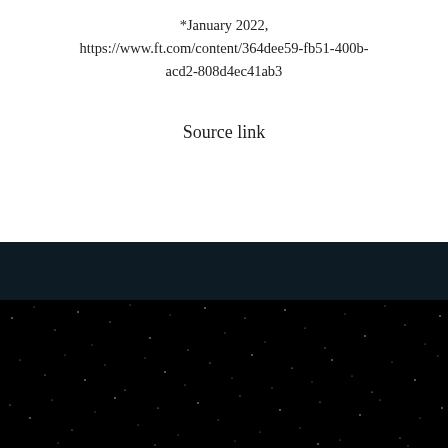*January 2022, https://www.ft.com/content/364dee59-fb51-400b-acd2-808d4ec41ab3
Source link
[Figure (photo): Dark navy/black band followed by a dark starfield image showing a night sky with scattered white stars against a black background]